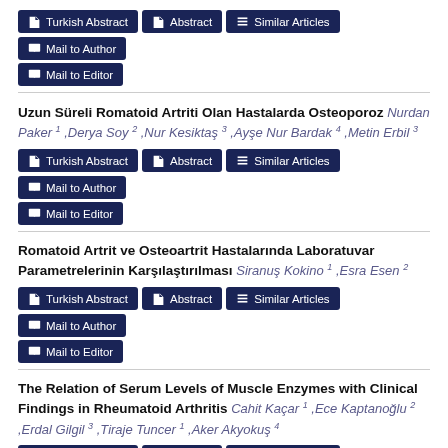Uzun Süreli Romatoid Artriti Olan Hastalarda Osteoporoz Nurdan Paker 1 ,Derya Soy 2 ,Nur Kesiktaş 3 ,Ayşe Nur Bardak 4 ,Metin Erbil 3
Romatoid Artrit ve Osteoartrit Hastalarında Laboratuvar Parametrelerinin Karşılaştırılması Siranuş Kokino 1 ,Esra Esen 2
The Relation of Serum Levels of Muscle Enzymes with Clinical Findings in Rheumatoid Arthritis Cahit Kaçar 1 ,Ece Kaptanoğlu 2 ,Erdal Gilgil 3 ,Tiraje Tuncer 1 ,Aker Akyokuş 4
Romatoid Artritli Hastalarda Ayakta Görülen Deformiteler ve Podografik Değerlendirme Nureddin Tardemir 1 ,Hakan Tuna 2 ,Sirem...